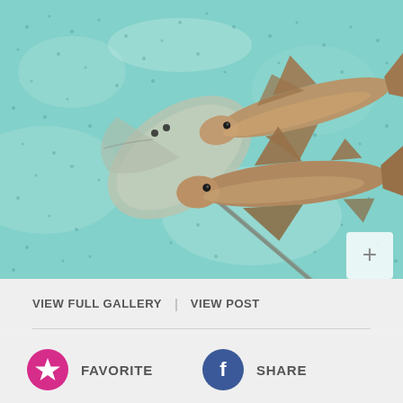[Figure (photo): Aerial/overhead view of two sharks and a stingray swimming over a sandy ocean floor with teal/turquoise water. The stingray is on the left side partially camouflaged against the sand, and two brown reef sharks are visible on the right side.]
VIEW FULL GALLERY | VIEW POST
FAVORITE
SHARE